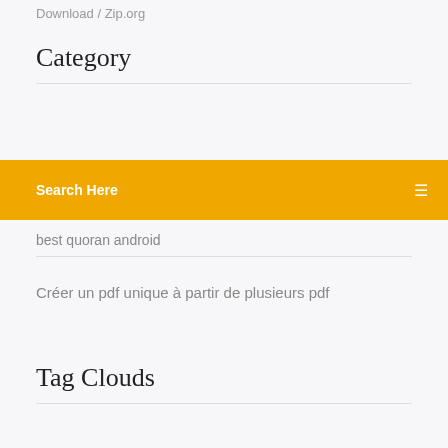Download / Zip.org
Category
Search Here
best quoran android
Créer un pdf unique à partir de plusieurs pdf
Tag Clouds